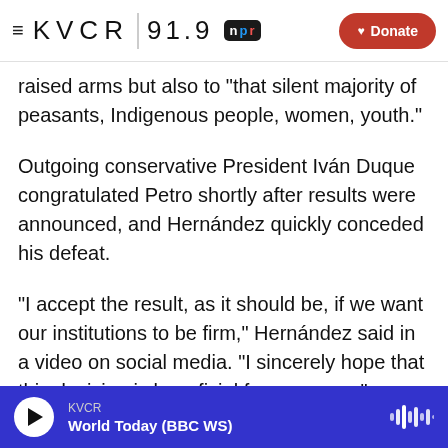KVCR 91.9 NPR | Donate
raised arms but also to "that silent majority of peasants, Indigenous people, women, youth."
Outgoing conservative President Iván Duque congratulated Petro shortly after results were announced, and Hernández quickly conceded his defeat.
"I accept the result, as it should be, if we want our institutions to be firm," Hernández said in a video on social media. "I sincerely hope that this decision is beneficial for everyone."
Colombia also elected its first Black woman to be
KVCR | World Today (BBC WS)